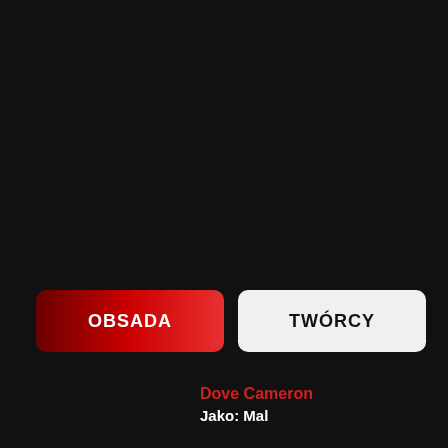OBSADA
TWÓRCY
Dove Cameron
Jako: Mal